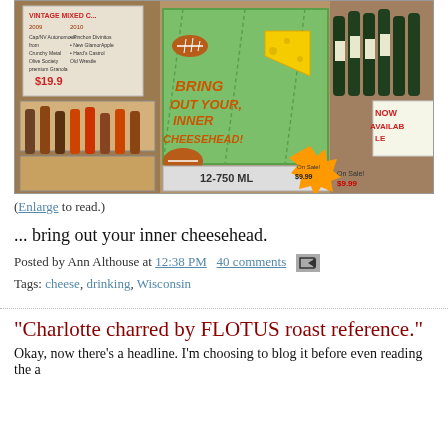[Figure (photo): Photo of a wine/liquor store shelf display with bottles and a green sign reading 'BRING OUT YOUR INNER CHEESEHEAD', boxes labeled '12-750 ML', and a vintage mixed case sign with prices.]
(Enlarge to read.)
... bring out your inner cheesehead.
Posted by Ann Althouse at 12:38 PM   40 comments
Tags: cheese, drinking, Wisconsin
"Charlotte charred by FLOTUS roast reference."
Okay, now there's a headline. I'm choosing to blog it before even reading the a